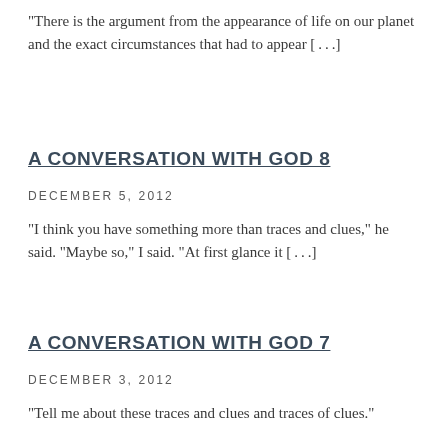“There is the argument from the appearance of life on our planet and the exact circumstances that had to appear […]
A CONVERSATION WITH GOD 8
DECEMBER 5, 2012
“I think you have something more than traces and clues,” he said. “Maybe so,” I said. “At first glance it […]
A CONVERSATION WITH GOD 7
DECEMBER 3, 2012
“Tell me about these traces and clues and traces of clues.”